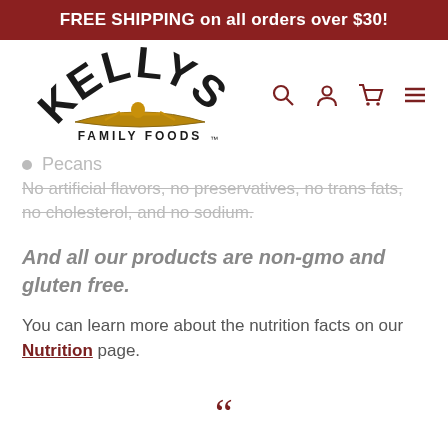FREE SHIPPING on all orders over $30!
[Figure (logo): Kelly's Family Foods logo with rower in canoe]
Pecans
No artificial flavors, no preservatives, no trans fats, no cholesterol, and no sodium.
And all our products are non-gmo and gluten free.
You can learn more about the nutrition facts on our Nutrition page.
For all you athletes, those